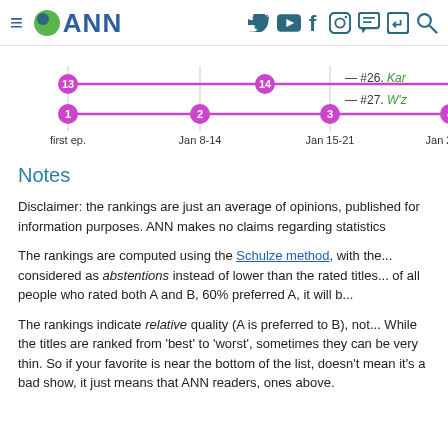ANN (Anime News Network) website header with logo and navigation icons
[Figure (line-chart): A line chart showing episode rankings over weeks (first ep., Jan 8-14, Jan 15-21, Jan 22-28). Two series: one with points labeled 13 and 14, another with points labeled 1, 2, 3, 4. Both are magenta/pink lines with circle markers.]
Notes
Disclaimer: the rankings are just an average of opinions, published for information purposes. ANN makes no claims regarding statisti...
The rankings are computed using the Schulze method, with th... considered as abstentions instead of lower than the rated titles... of all people who rated both A and B, 60% preferred A, it will b...
The rankings indicate relative quality (A is preferred to B), not... While the titles are ranked from 'best' to 'worst', sometimes the... can be very thin. So if your favorite is near the bottom of the lis... doesn't mean it's a bad show, it just means that ANN readers,... ones above.